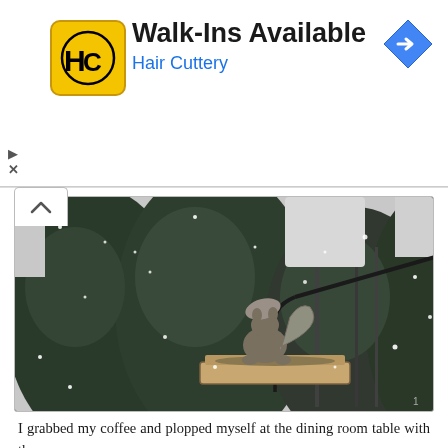[Figure (logo): Hair Cuttery advertisement banner with HC logo, title 'Walk-Ins Available', subtitle 'Hair Cuttery', blue navigation arrow icon top right, and ad control icons on left]
[Figure (photo): Black and white photograph of a squirrel eating from a hanging bird/squirrel feeder tray during snowfall, with evergreen trees in background]
I grabbed my coffee and plopped myself at the dining room table with the...